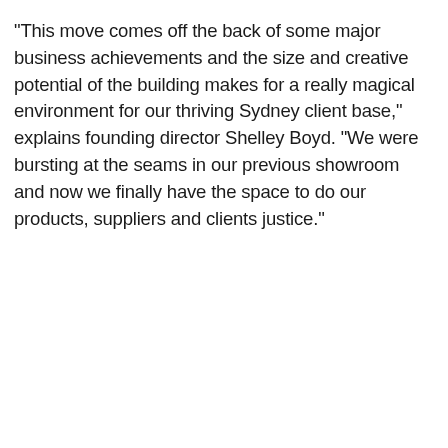“This move comes off the back of some major business achievements and the size and creative potential of the building makes for a really magical environment for our thriving Sydney client base,” explains founding director Shelley Boyd. “We were bursting at the seams in our previous showroom and now we finally have the space to do our products, suppliers and clients justice.”